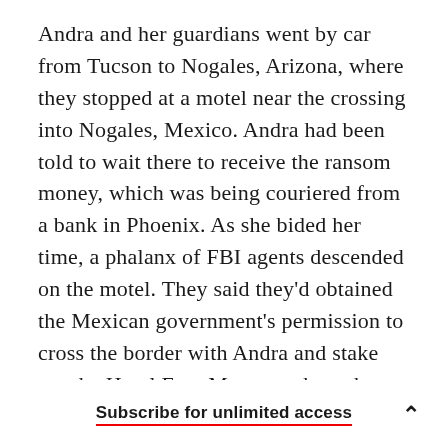Andra and her guardians went by car from Tucson to Nogales, Arizona, where they stopped at a motel near the crossing into Nogales, Mexico. Andra had been told to wait there to receive the ransom money, which was being couriered from a bank in Phoenix. As she bided her time, a phalanx of FBI agents descended on the motel. They said they'd obtained the Mexican government's permission to cross the border with Andra and stake out the Hotel Fray Marcos, where the payoff was to take place. The agents hoped to identify and track whoever collected the cash.
Subscribe for unlimited access